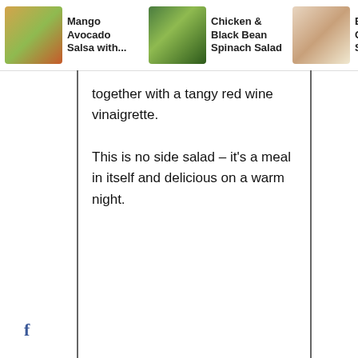[Figure (screenshot): Top navigation bar showing three food recipe thumbnails: Mango Avocado Salsa with..., Chicken & Black Bean Spinach Salad, and Buffalo Chicken S... with a right arrow]
together with a tangy red wine vinaigrette. This is no side salad – it's a meal in itself and delicious on a warm night.
[Figure (infographic): Social media share icons: Facebook (f), Twitter (bird), Pinterest (p) on the left sidebar]
44